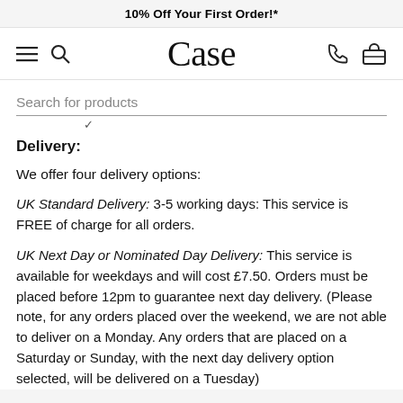10% Off Your First Order!*
[Figure (screenshot): Navigation bar with hamburger menu, search icon, 'Case' logo, phone icon, and briefcase icon]
Search for products
Delivery:
We offer four delivery options:
UK Standard Delivery: 3-5 working days: This service is FREE of charge for all orders.
UK Next Day or Nominated Day Delivery: This service is available for weekdays and will cost £7.50. Orders must be placed before 12pm to guarantee next day delivery. (Please note, for any orders placed over the weekend, we are not able to deliver on a Monday. Any orders that are placed on a Saturday or Sunday, with the next day delivery option selected, will be delivered on a Tuesday)